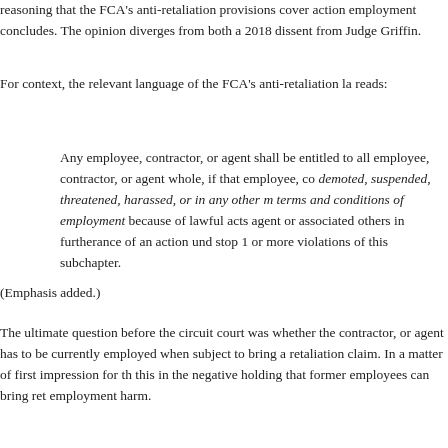reasoning that the FCA's anti-retaliation provisions cover action employment concludes. The opinion diverges from both a 2018 dissent from Judge Griffin.
For context, the relevant language of the FCA's anti-retaliation la reads:
Any employee, contractor, or agent shall be entitled to all employee, contractor, or agent whole, if that employee, co demoted, suspended, threatened, harassed, or in any other m terms and conditions of employment because of lawful acts agent or associated others in furtherance of an action uno stop 1 or more violations of this subchapter.
(Emphasis added.)
The ultimate question before the circuit court was whether the contractor, or agent has to be currently employed when subject to bring a retaliation claim. In a matter of first impression for th this in the negative holding that former employees can bring ret employment harm.